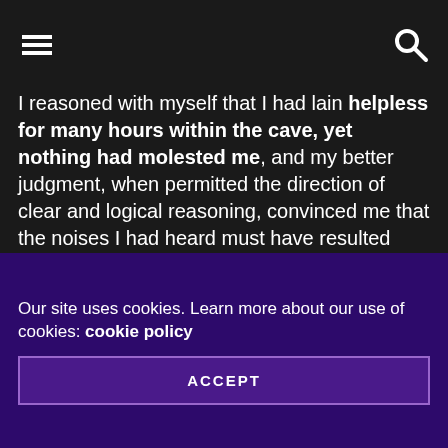[hamburger menu icon] [search icon]
I reasoned with myself that I had lain helpless for many hours within the cave, yet nothing had molested me, and my better judgment, when permitted the direction of clear and logical reasoning, convinced me that the noises I had heard must have resulted from purely natural and harmless causes; probably the conformation of the cave was such that a slight breeze had caused the sounds I heard.

I decided to investigate, but first I lifted my head to fill my lungs with the pure, invigorating night air of the mountains. As I did so I saw stretching far below me
Our site uses cookies. Learn more about our use of cookies: cookie policy
ACCEPT